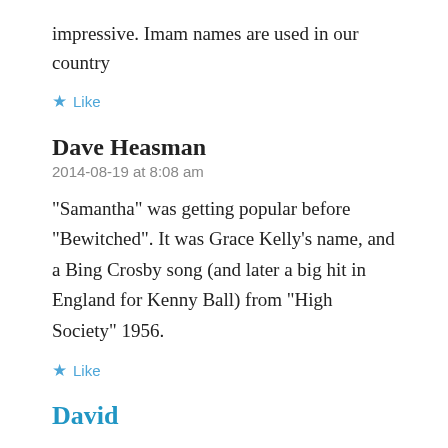impressive. Imam names are used in our country
★ Like
Dave Heasman
2014-08-19 at 8:08 am
“Samantha” was getting popular before “Bewitched”. It was Grace Kelly’s name, and a Bing Crosby song (and later a big hit in England for Kenny Ball) from “High Society” 1956.
★ Like
David